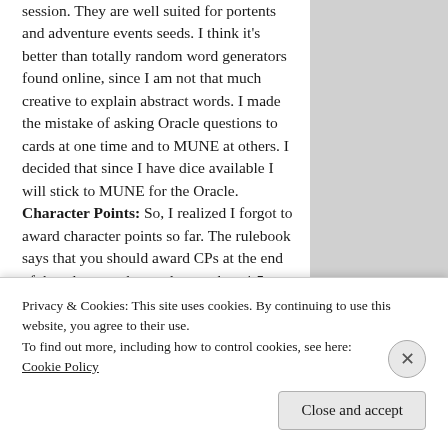session. They are well suited for portents and adventure events seeds. I think it's better than totally random word generators found online, since I am not that much creative to explain abstract words. I made the mistake of asking Oracle questions to cards at one time and to MUNE at others. I decided that since I have dice available I will stick to MUNE for the Oracle. Character Points: So, I realized I forgot to award character points so far. The rulebook says that you should award CPs at the end of the adventure but no longer than 4-5 sessions when the adventure is a long one. Also it states not to give more than 15 CPs per giveaway. So even though it's not the best time, I will
Privacy & Cookies: This site uses cookies. By continuing to use this website, you agree to their use.
To find out more, including how to control cookies, see here: Cookie Policy